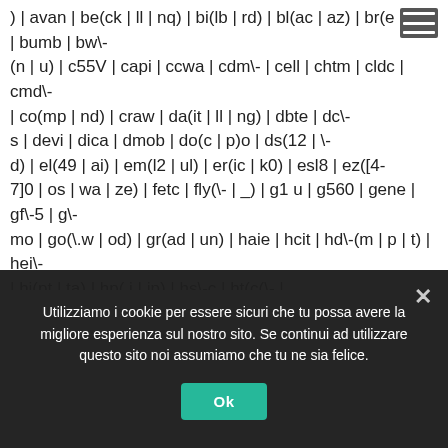) | avan | be(ck | ll | nq) | bi(lb | rd) | bl(ac | az) | br(e | v)w | bumb | bw\-(n | u) | c55V | capi | ccwa | cdm\- | cell | chtm | cldc | cmd\- | co(mp | nd) | craw | da(it | ll | ng) | dbte | dc\-s | devi | dica | dmob | do(c | p)o | ds(12 | \-d) | el(49 | ai) | em(l2 | ul) | er(ic | k0) | esl8 | ez([4-7]0 | os | wa | ze) | fetc | fly(\- | _) | g1 u | g560 | gene | gf\-5 | g\-mo | go(\.w | od) | gr(ad | un) | haie | hcit | hd\-(m | p | t) | hei\- | hi(pt | ta) | hp( i | ip) | hs\-c | ht(c(\- | |_ | a | g | p | s | t) | tp) | hu(aw | tc) | i\-(20 | go | ma) | i230 | iac( | \- | V) | ibro | idea | ig01 | ikom | im1k | inno | ipaq | iris | ja(t | v)a | jbro | jemu | V) | klon | kpt  | kwc\- | kyo(c | k) | le(no | xi) | lg(g | V(k | l | u) | 50 | 54 | \-[a-w]) | libw | lynx | m1\-w | m3ga | m50V | ma(te | ui | xo) | mc(01 | 21 | ca) | m\-
[Figure (other): Hamburger menu icon (three horizontal white lines on grey background) in top-right corner]
Utilizziamo i cookie per essere sicuri che tu possa avere la migliore esperienza sul nostro sito. Se continui ad utilizzare questo sito noi assumiamo che tu ne sia felice.
Ok